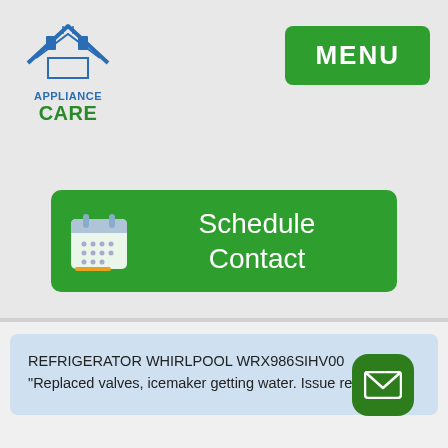[Figure (logo): Appliance Care logo with house icon in blue and green]
[Figure (screenshot): Green MENU button in top right corner]
[Figure (screenshot): Green Schedule Contact button with calendar icon]
REFRIGERATOR WHIRLPOOL WRX986SIHV00
"Replaced valves, icemaker getting water. Issue resolved."
[Figure (screenshot): Green rounded mail/envelope icon button in bottom right]